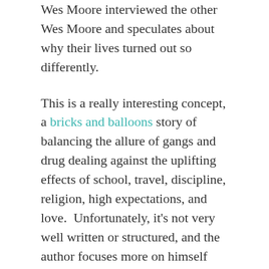Wes Moore interviewed the other Wes Moore and speculates about why their lives turned out so differently.
This is a really interesting concept, a bricks and balloons story of balancing the allure of gangs and drug dealing against the uplifting effects of school, travel, discipline, religion, high expectations, and love.  Unfortunately, it's not very well written or structured, and the author focuses more on himself than on the other Wes Moore (who appears only in the last 40 pages).  He overgeneralizes all the things his mother thought would be good for him as vital contributors to his success, but a school that wakes you before dawn by screaming profanity at you and dropping you five feet onto a tile floor is just abusive, not proven to have positive results.  You didn't